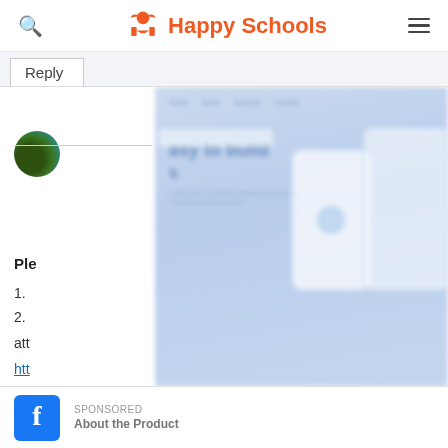Happy Schools
Reply
[Figure (screenshot): Blurred screenshot of a website showing a hero section with text 'easy to build' and device mockups (phone and tablet) on a light blue background]
Ple
1.
2.
att
htt
About the Product